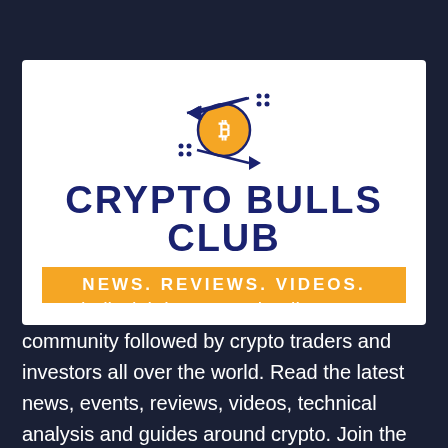[Figure (logo): Crypto Bulls Club logo: Bitcoin symbol with exchange arrows icon above the text 'CRYPTO BULLS CLUB' in dark navy bold uppercase, with an orange banner below reading 'NEWS. REVIEWS. VIDEOS.' in white uppercase text]
Cryptobullsclub is a trusted Indian crypto community followed by crypto traders and investors all over the world. Read the latest news, events, reviews, videos, technical analysis and guides around crypto. Join the tribe of 1000+